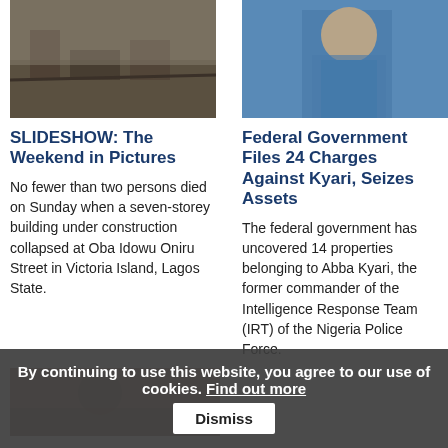[Figure (photo): Photo of collapsed building rubble at construction site]
[Figure (photo): Photo of man in blue Nigerian police uniform]
SLIDESHOW: The Weekend in Pictures
No fewer than two persons died on Sunday when a seven-storey building under construction collapsed at Oba Idowu Oniru Street in Victoria Island, Lagos State.
Federal Government Files 24 Charges Against Kyari, Seizes Assets
The federal government has uncovered 14 properties belonging to Abba Kyari, the former commander of the Intelligence Response Team (IRT) of the Nigeria Police Force.
[Figure (photo): Partial photo at bottom of page, appears to show a person or interior scene]
By continuing to use this website, you agree to our use of cookies. Find out more  Dismiss